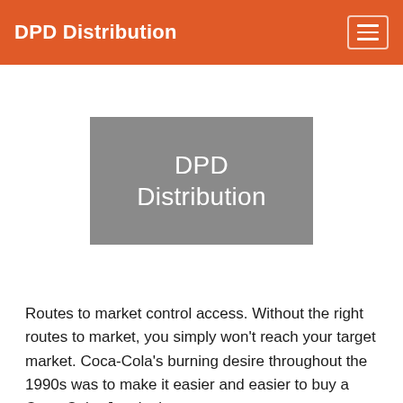DPD Distribution
[Figure (illustration): Gray placeholder image box with white text reading 'DPD Distribution']
Routes to market control access. Without the right routes to market, you simply won't reach your target market. Coca-Cola's burning desire throughout the 1990s was to make it easier and easier to buy a Coca-Cola. Just look at